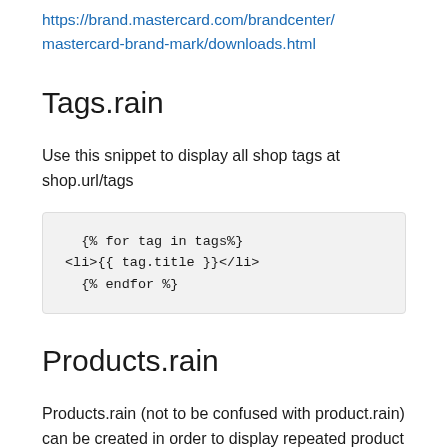https://brand.mastercard.com/brandcenter/mastercard-brand-mark/downloads.html
Tags.rain
Use this snippet to display all shop tags at shop.url/tags
{% for tag in tags%}
<li>{{ tag.title }}</li>
{% endfor %}
Products.rain
Products.rain (not to be confused with product.rain) can be created in order to display repeated product information in a